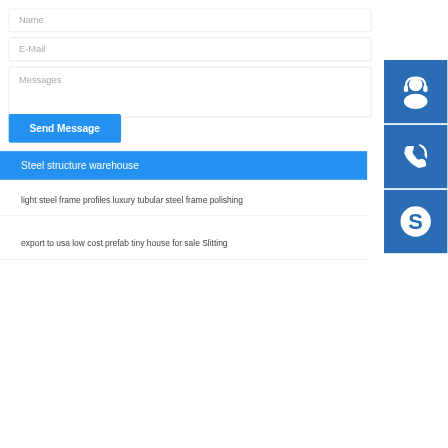Name
E-Mail
Messages
Send Message
[Figure (illustration): Three blue square icons on the right sidebar: customer support headset icon, phone with signal icon, and Skype logo icon]
Steel structure warehouse
light steel frame profiles luxury tubular steel frame polishing
export to usa low cost prefab tiny house for sale Slitting